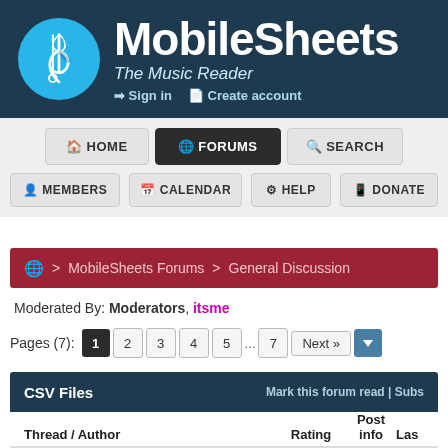[Figure (logo): MobileSheets music reader logo with treble clef icon in blue circle and site header]
MobileSheets The Music Reader — Sign in | Create account
HOME   FORUMS   SEARCH   MEMBERS   CALENDAR   HELP   DONATE
MobileSheets Forums > General Discussion
Moderated By: Moderators, itsme
Pages (7): 1 2 3 4 5 ... 7 Next »
| Thread / Author | Rating | Post info | Las |
| --- | --- | --- | --- |